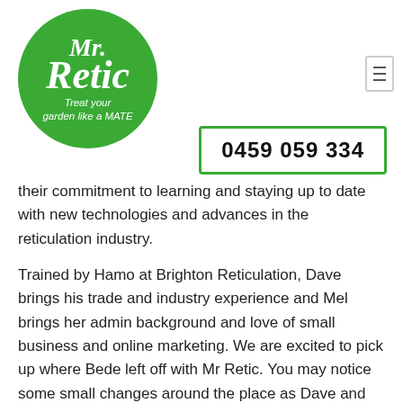[Figure (logo): Mr. Retic logo — green circle with white cursive text reading 'Mr. Retic' and tagline 'Treat your garden like a MATE']
0459 059 334
their commitment to learning and staying up to date with new technologies and advances in the reticulation industry.
Trained by Hamo at Brighton Reticulation, Dave brings his trade and industry experience and Mel brings her admin background and love of small business and online marketing. We are excited to pick up where Bede left off with Mr Retic. You may notice some small changes around the place as Dave and Mel make their